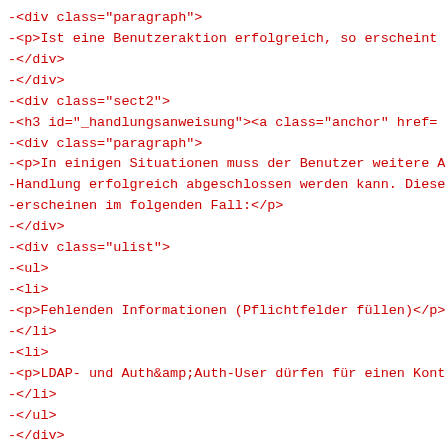-<div class="paragraph">
-<p>Ist eine Benutzeraktion erfolgreich, so erscheint
-</div>
-</div>
-<div class="sect2">
-<h3 id="_handlungsanweisung"><a class="anchor" href=
-<div class="paragraph">
-<p>In einigen Situationen muss der Benutzer weitere A
-Handlung erfolgreich abgeschlossen werden kann. Diese
-erscheinen im folgenden Fall:</p>
-</div>
-<div class="ulist">
-<ul>
-<li>
-<p>Fehlenden Informationen (Pflichtfelder füllen)</p>
-</li>
-<li>
-<p>LDAP- und Auth&amp;Auth-User dürfen für einen Kont
-</li>
-</ul>
-</div>
-<div class="imageblock">